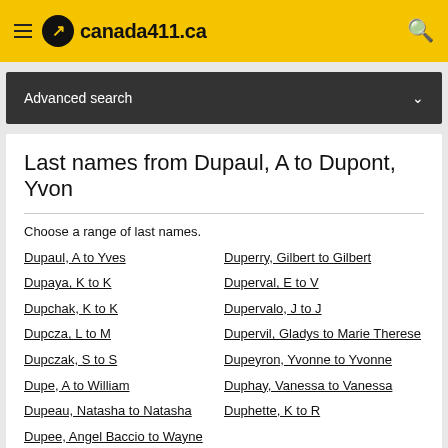canada411.ca
Advanced search
Last names from Dupaul, A to Dupont, Yvon
Choose a range of last names.
Dupaul, A to Yves
Dupaya, K to K
Dupchak, K to K
Dupcza, L to M
Dupczak, S to S
Dupe, A to William
Dupeau, Natasha to Natasha
Dupee, Angel Baccio to Wayne
Dupei, Susan to Tim
Duperry, Gilbert to Gilbert
Duperval, E to V
Dupervalo, J to J
Dupervil, Gladys to Marie Therese
Dupeyron, Yvonne to Yvonne
Duphay, Vanessa to Vanessa
Duphette, K to R